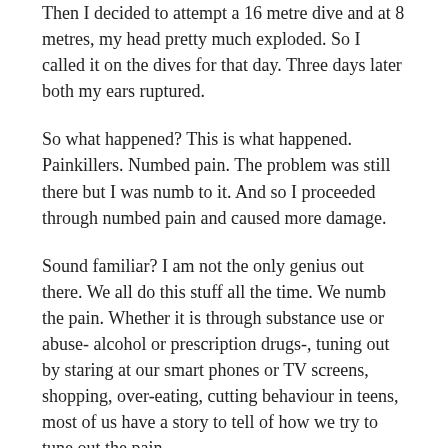Then I decided to attempt a 16 metre dive and at 8 metres, my head pretty much exploded. So I called it on the dives for that day. Three days later both my ears ruptured.
So what happened? This is what happened. Painkillers. Numbed pain. The problem was still there but I was numb to it. And so I proceeded through numbed pain and caused more damage.
Sound familiar? I am not the only genius out there. We all do this stuff all the time. We numb the pain. Whether it is through substance use or abuse- alcohol or prescription drugs-, tuning out by staring at our smart phones or TV screens, shopping, over-eating, cutting behaviour in teens, most of us have a story to tell of how we try to tune out the pain.
Human beings will do just about anything to numb pain, whether it's physical, emotional or spiritual. Some of the stuff we do just causes further